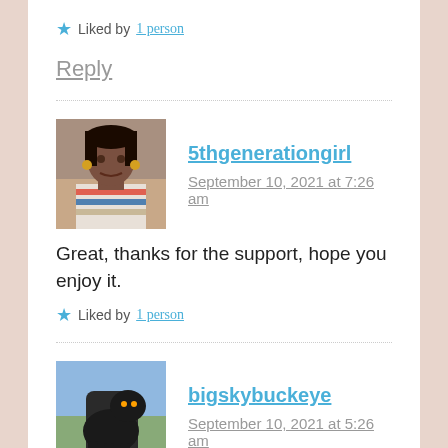★ Liked by 1 person
Reply
5thgenerationgirl says:
September 10, 2021 at 7:26 am
Great, thanks for the support, hope you enjoy it.
★ Liked by 1 person
bigskybuckeye says:
September 10, 2021 at 5:26 am
Well, girl! When you mix in a litte bit a tha...